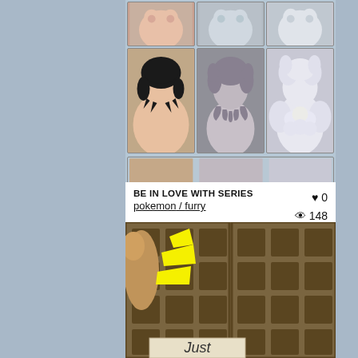[Figure (illustration): Comic/manga style illustration showing character backs in a grid layout with blue background. Top row shows torsos, middle row shows heads/hair from behind (dark hair human, grey-haired character, white fluffy character), bottom partial strip also visible.]
BE IN LOVE WITH SERIES
pokemon / furry
♥ 0
👁 148
19/12/2020
[Figure (screenshot): Screenshot from an animated game/show showing a character knocking on a wooden door with yellow impact flash effects. A sign at the bottom reads 'Just'.]
Just